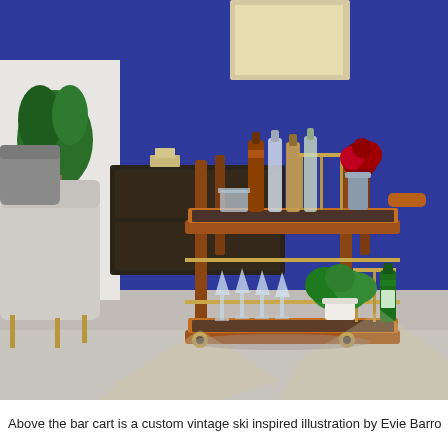[Figure (photo): A mid-century modern wooden bar cart with brass accents and wheels, sitting in a room with a deep cobalt blue wall. The top shelf holds various liquor bottles, glassware, and a vase of red roses. The bottom shelf holds wine glasses, a green fern plant, and a bottle of sparkling water. To the left are light grey upholstered chairs with brass legs. A dark wood dresser is visible in the background. The floor is light grey carpet.]
Above the bar cart is a custom vintage ski inspired illustration by Evie Barro